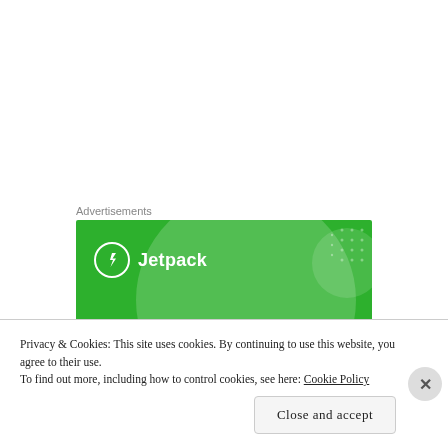Advertisements
[Figure (illustration): Jetpack advertisement banner on green background with logo, circle decorations, white dot pattern, and text: 'We guard your WordPress site. You run your business.']
Privacy & Cookies: This site uses cookies. By continuing to use this website, you agree to their use.
To find out more, including how to control cookies, see here: Cookie Policy
Close and accept